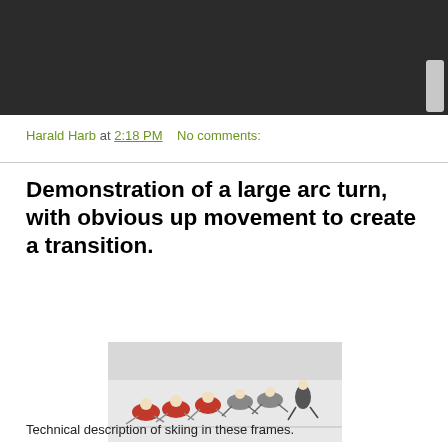[Figure (photo): Dark header/navigation bar at top of webpage]
Harald Harb at 2:18 PM   No comments:
Demonstration of a large arc turn, with obvious up movement to create a transition.
[Figure (photo): Multiple exposure or composite image of a skier performing a large arc turn, showing sequential positions of the skier in red and white racing suit carving through snow]
Technical description of skiing in these frames.